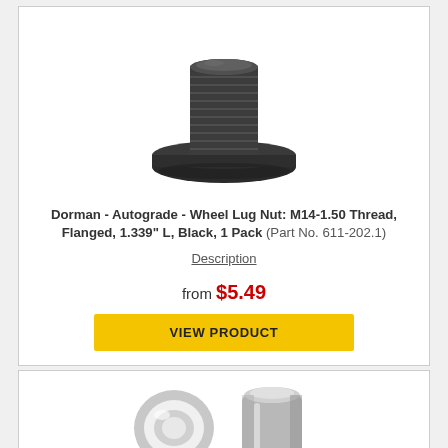[Figure (photo): Black flanged wheel lug nut, M14-1.50, viewed from top/side angle showing threads and flange]
Dorman - Autograde - Wheel Lug Nut: M14-1.50 Thread, Flanged, 1.339" L, Black, 1 Pack (Part No. 611-202.1)
Description
from $5.49
VIEW PRODUCT
[Figure (photo): Silver/chrome wheel lug nut and washer ring, viewed from side angle]